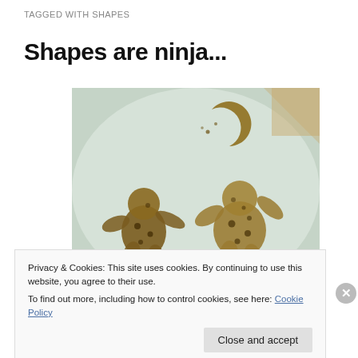TAGGED WITH SHAPES
Shapes are ninja...
[Figure (photo): Photo of three gingerbread man shaped cookies on a white surface. Two larger cookies in the bottom half shaped like people/teddy bears with chocolate chip spots, and one crescent/moon-shaped cookie at the top.]
Privacy & Cookies: This site uses cookies. By continuing to use this website, you agree to their use.
To find out more, including how to control cookies, see here: Cookie Policy